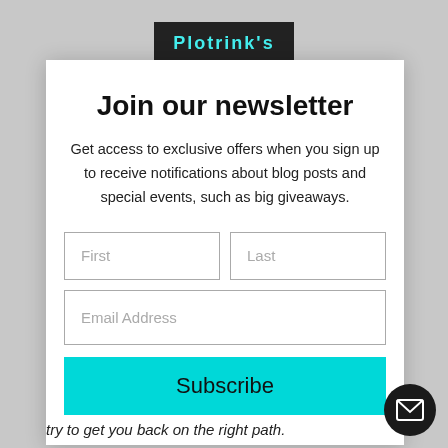[Figure (screenshot): Newsletter signup modal overlay on a webpage. Contains a title, descriptive text, form fields for First name, Last name, and Email Address, and a Subscribe button.]
Join our newsletter
Get access to exclusive offers when you sign up to receive notifications about blog posts and special events, such as big giveaways.
try to get you back on the right path.